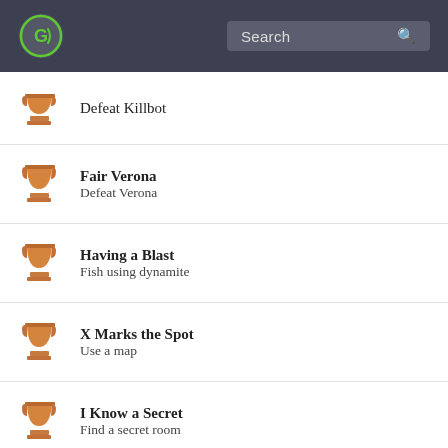Search
Defeat Killbot
Fair Verona — Defeat Verona
Having a Blast — Fish using dynamite
X Marks the Spot — Use a map
I Know a Secret — Find a secret room
Fetch a Fair Price